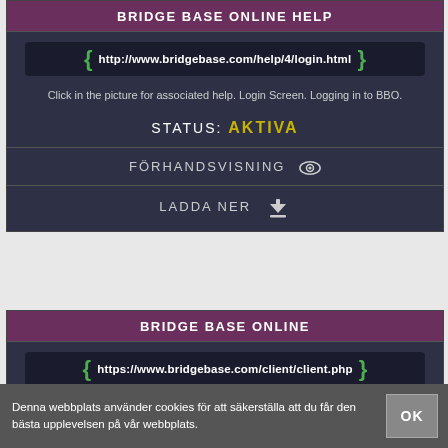BRIDGE BASE ONLINE HELP
http://www.bridgebase.com/help/4/login.html
Click in the picture for associated help. Login Screen. Logging in to BBO.
STATUS: AKTIVA
FÖRHANDSVISNING
LADDA NER
BRIDGE BASE ONLINE
https://www.bridgebase.com/client/client.php
Play Bridge online.
STATUS: AKTIVA
Denna webbplats använder cookies för att säkerställa att du får den bästa upplevelsen på vår webbplats.